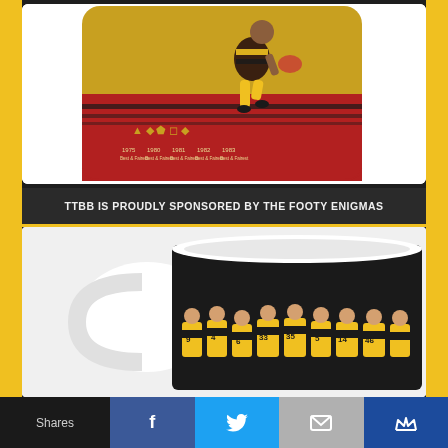[Figure (illustration): A phone/tablet case showing a stylized AFL football player in black and yellow Richmond Tigers colors, holding a ball, on a red and gold background with trophy icons and years 1975, 1980, 1981, 1982, 1983 listed below]
TTBB IS PROUDLY SPONSORED BY THE FOOTY ENIGMAS
[Figure (photo): A black mug with white interior rim showing Richmond Tigers AFL players in yellow and black jerseys standing in a line with jersey numbers 9, 4, 6, 33, 35, 5, 14, 46 and more visible]
Shares | Facebook share button | Twitter share button | Email share button | Crown/bookmark share button